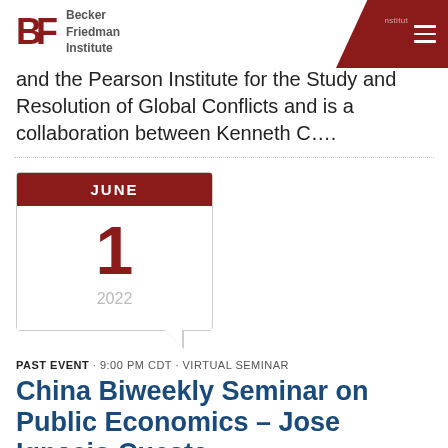Becker Friedman Institute
and the Pearson Institute for the Study and Resolution of Global Conflicts and is a collaboration between Kenneth C….
[Figure (other): Calendar widget showing June 1, 2022 with dark red month header and page-curl effect]
PAST EVENT · 9:00 PM CDT · VIRTUAL SEMINAR
China Biweekly Seminar on Public Economics – Jose Ignacio Cuesta
The Tsinghua University – University of Chicago